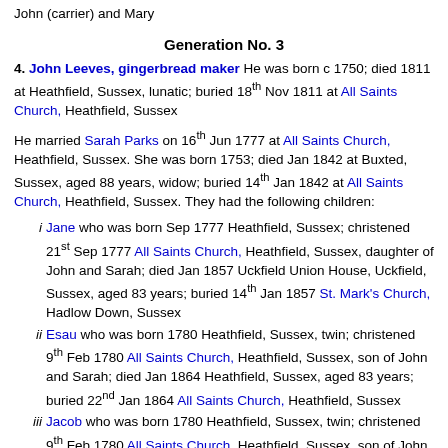John (carrier) and Mary
Generation No. 3
4. John Leeves, gingerbread maker He was born c 1750; died 1811 at Heathfield, Sussex, lunatic; buried 18th Nov 1811 at All Saints Church, Heathfield, Sussex
He married Sarah Parks on 16th Jun 1777 at All Saints Church, Heathfield, Sussex. She was born 1753; died Jan 1842 at Buxted, Sussex, aged 88 years, widow; buried 14th Jan 1842 at All Saints Church, Heathfield, Sussex. They had the following children:
i Jane who was born Sep 1777 Heathfield, Sussex; christened 21st Sep 1777 All Saints Church, Heathfield, Sussex, daughter of John and Sarah; died Jan 1857 Uckfield Union House, Uckfield, Sussex, aged 83 years; buried 14th Jan 1857 St. Mark's Church, Hadlow Down, Sussex
ii Esau who was born 1780 Heathfield, Sussex, twin; christened 9th Feb 1780 All Saints Church, Heathfield, Sussex, son of John and Sarah; died Jan 1864 Heathfield, Sussex, aged 83 years; buried 22nd Jan 1864 All Saints Church, Heathfield, Sussex
iii Jacob who was born 1780 Heathfield, Sussex, twin; christened 9th Feb 1780 All Saints Church, Heathfield, Sussex, son of John and Sarah
William who was born 1782 Heathfield, Sussex; christened 25th Aug 1782 All Saints Church, Heathfield, Sussex, son of